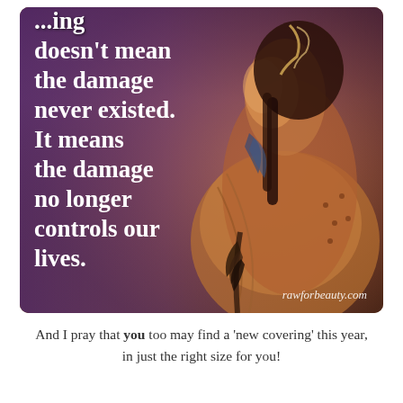[Figure (photo): Photo of a Native American woman in traditional dress, wearing braids and a feather headdress, holding a feathered item, with a warm amber/golden light on her face against a purple-hued background. Overlaid with inspirational quote text in white bold font. Watermark 'rawforbeauty.com' in bottom right.]
And I pray that you too may find a 'new covering' this year, in just the right size for you!